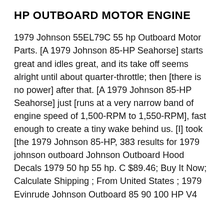HP OUTBOARD MOTOR ENGINE
1979 Johnson 55EL79C 55 hp Outboard Motor Parts. [A 1979 Johnson 85-HP Seahorse] starts great and idles great, and its take off seems alright until about quarter-throttle; then [there is no power] after that. [A 1979 Johnson 85-HP Seahorse] just [runs at a very narrow band of engine speed of 1,500-RPM to 1,550-RPM], fast enough to create a tiny wake behind us. [I] took [the 1979 Johnson 85-HP, 383 results for 1979 johnson outboard Johnson Outboard Hood Decals 1979 50 hp 55 hp. C $89.46; Buy It Now; Calculate Shipping ; From United States ; 1979 Evinrude Johnson Outboard 85 90 100 HP V4